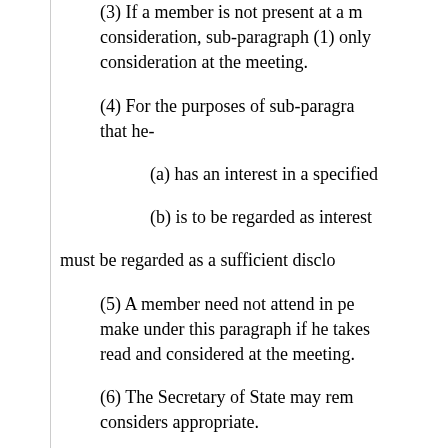(3) If a member is not present at a meeting where consideration, sub-paragraph (1) only consideration at the meeting.
(4) For the purposes of sub-paragraph that he-
(a) has an interest in a specified
(b) is to be regarded as interested
must be regarded as a sufficient disclo
(5) A member need not attend in person to make under this paragraph if he takes read and considered at the meeting.
(6) The Secretary of State may rem considers appropriate.
(7) The power of the Secretary of State or for any period) a disability which wo reason of such interests, and in respect State.
(8) Nothing in this paragraph prec